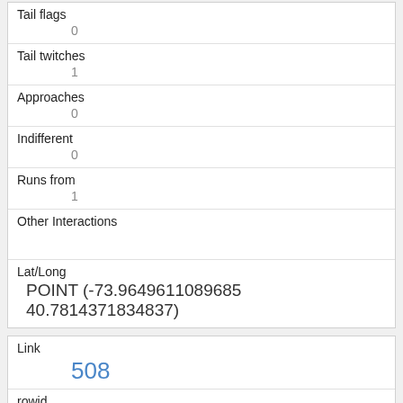| Tail flags | 0 |
| Tail twitches | 1 |
| Approaches | 0 |
| Indifferent | 0 |
| Runs from | 1 |
| Other Interactions |  |
| Lat/Long | POINT (-73.9649611089685 40.7814371834837) |
| Link | 508 |
| rowid | 508 |
| longitude | -73.9649187608758 |